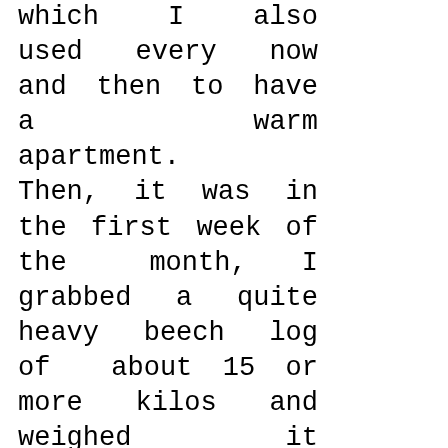which I also used every now and then to have a warm apartment. Then, it was in the first week of the month, I grabbed a quite heavy beech log of about 15 or more kilos and weighed it laboriously into the fire hole, feeling that something in my right armpit was apparently rupturing and suddenly aching